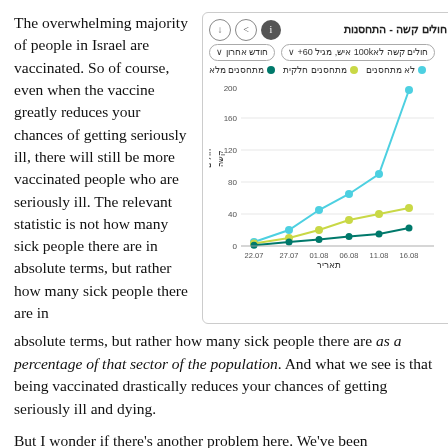The overwhelming majority of people in Israel are vaccinated. So of course, even when the vaccine greatly reduces your chances of getting seriously ill, there will still be more vaccinated people who are seriously ill. The relevant statistic is not how many sick people there are in absolute terms, but rather how many sick people there are as a percentage of that sector of the population. And what we see is that being vaccinated drastically reduces your chances of getting seriously ill and dying.
[Figure (line-chart): חולים קשה - התחסנות]
But I wonder if there's another problem here. We've been